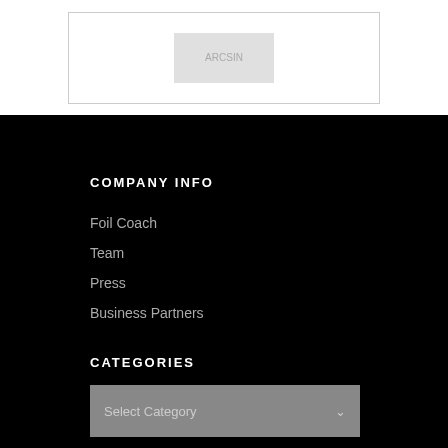[Figure (photo): Faded image placeholder in a bordered white box at top of page]
COMPANY INFO
Foil Coach
Team
Press
Business Partners
CATEGORIES
Select Category